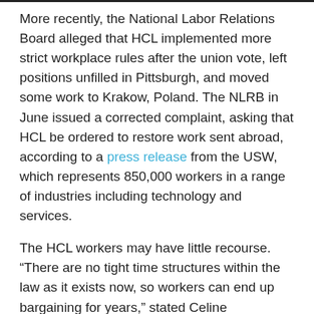More recently, the National Labor Relations Board alleged that HCL implemented more strict workplace rules after the union vote, left positions unfilled in Pittsburgh, and moved some work to Krakow, Poland. The NLRB in June issued a corrected complaint, asking that HCL be ordered to restore work sent abroad, according to a press release from the USW, which represents 850,000 workers in a range of industries including technology and services.
The HCL workers may have little recourse. “There are no tight time structures within the law as it exists now, so workers can end up bargaining for years,” stated Celine McNicholas, director of government affairs at the Economic Policy Institute, in the 90.5 WESA account.